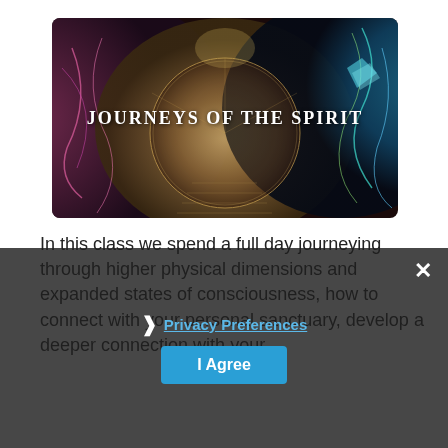[Figure (illustration): A psychedelic/spiritual artwork banner with the text 'Journeys Of The Spirit' overlaid in white serif letters on a surreal colorful image featuring a central circular portal with geometric patterns, bright colors, and abstract elements. Dark rounded-rectangle frame.]
In this class we spend a full day journeying through higher physical dimensions and expanded states of consciousness, how to connect with your personal sanctuary, develop a deeper connection with your
Privacy Preferences
I Agree